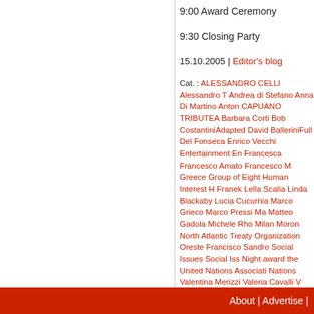9:00 Award Ceremony
9:30 Closing Party
15.10.2005 | Editor's blog
Cat. : ALESSANDRO CELLI Alessandro T Andrea di Stefano Anna Di Martino Anton CAPUANO TRIBUTEA Barbara Corti Bob CostantiniAdapted David BalleriniFull Del Fonseca Enrico Vecchi Entertainment En Francesca Francesco Amato Francesco M Greece Group of Eight Human Interest H Franek Lella Scalia Linda Blackaby Lucia Cucurnia Marco Grieco Marco Pressi Ma Matteo Gadola Michele Rho Milan Moron North Atlantic Treaty Organization Oreste Francisco Sandro Social Issues Social Iss Night award the United Nations Associati Nations Valentina Merizzi Valeria Cavalli V
Editor's blog   Editor's videoblog   P
About | Advertise |